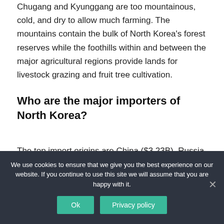Chugang and Kyunggang are too mountainous, cold, and dry to allow much farming. The mountains contain the bulk of North Korea's forest reserves while the foothills within and between the major agricultural regions provide lands for livestock grazing and fruit tree cultivation.
Who are the major importers of North Korea?
The top import origins are China ($3.23B), Russia ($74.1M), India ($59.1M), Peru ($9.7M) and Ukraine ($3.86M). The top import categories from China
We use cookies to ensure that we give you the best experience on our website. If you continue to use this site we will assume that you are happy with it.